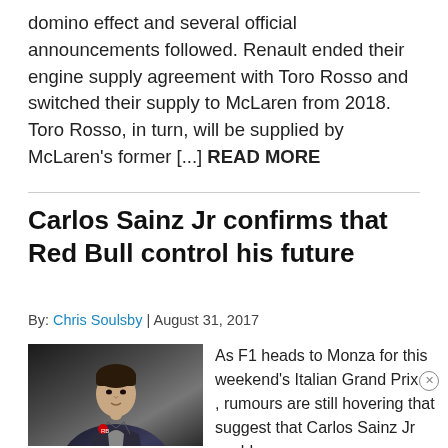domino effect and several official announcements followed. Renault ended their engine supply agreement with Toro Rosso and switched their supply to McLaren from 2018. Toro Rosso, in turn, will be supplied by McLaren's former [...] READ MORE
Carlos Sainz Jr confirms that Red Bull control his future
By: Chris Soulsby | August 31, 2017
[Figure (photo): Photo of Carlos Sainz Jr in a Red Bull/Toro Rosso racing suit, sitting at what appears to be a press conference or media event]
As F1 heads to Monza for this weekend's Italian Grand Prix, rumours are still hovering that suggest that Carlos Sainz Jr could